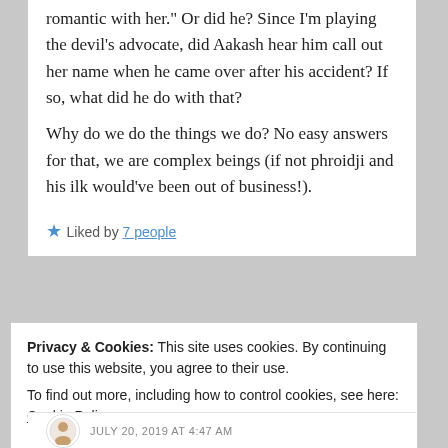romantic with her." Or did he? Since I'm playing the devil's advocate, did Aakash hear him call out her name when he came over after his accident? If so, what did he do with that?
Why do we do the things we do? No easy answers for that, we are complex beings (if not phroidji and his ilk would've been out of business!).
★ Liked by 7 people
Privacy & Cookies: This site uses cookies. By continuing to use this website, you agree to their use. To find out more, including how to control cookies, see here: Cookie Policy
Close and accept
JULY 20, 2019 AT 4:47 AM